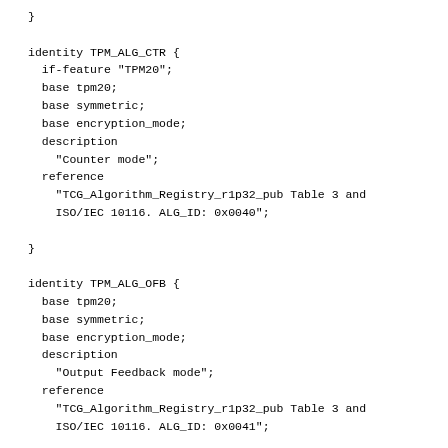}

identity TPM_ALG_CTR {
  if-feature "TPM20";
  base tpm20;
  base symmetric;
  base encryption_mode;
  description
    "Counter mode";
  reference
    "TCG_Algorithm_Registry_r1p32_pub Table 3 and
    ISO/IEC 10116. ALG_ID: 0x0040";

}

identity TPM_ALG_OFB {
  base tpm20;
  base symmetric;
  base encryption_mode;
  description
    "Output Feedback mode";
  reference
    "TCG_Algorithm_Registry_r1p32_pub Table 3 and
    ISO/IEC 10116. ALG_ID: 0x0041";

}

identity TPM_ALG_CBC {
  if-feature "TPM20";